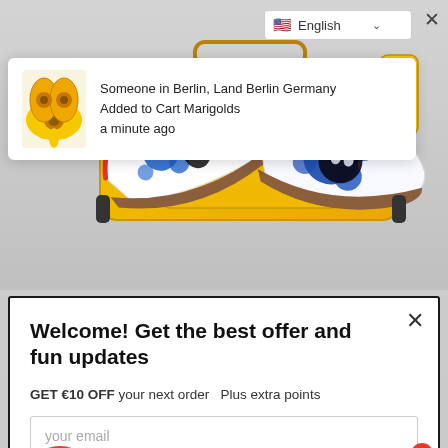[Figure (screenshot): Language selector dropdown showing English with US flag and chevron, plus close X button]
[Figure (photo): Notification popup showing colorful patterned shoes with text: Someone in Berlin, Land Berlin Germany Added to Cart Marigolds a minute ago]
Someone in Berlin, Land Berlin Germany Added to Cart Marigolds a minute ago
[Figure (photo): Hero image showing two artistic painted shoes/sneakers with blue paint splatter design, alongside a yellow suitcase with travel accessories]
[Figure (screenshot): Welcome modal popup with title 'Welcome! Get the best offer and fun updates', offer text 'GET €10 OFF your next order Plus extra points', email input field, gift icon button, and chat widget with badge showing 1]
Welcome! Get the best offer and fun updates
GET €10 OFF your next order  Plus extra points
your email